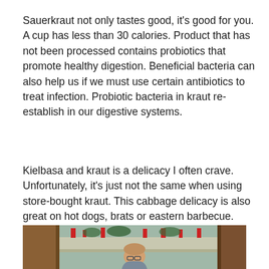Sauerkraut not only tastes good, it's good for you. A cup has less than 30 calories. Product that has not been processed contains probiotics that promote healthy digestion. Beneficial bacteria can also help us if we must use certain antibiotics to treat infection. Probiotic bacteria in kraut re-establish in our digestive systems.
Kielbasa and kraut is a delicacy I often crave. Unfortunately, it's just not the same when using store-bought kraut. This cabbage delicacy is also great on hot dogs, brats or eastern barbecue. Don't knock it until you've tried it.
[Figure (photo): A woman with glasses sitting in front of a fireplace mantel decorated with Christmas decorations including red candles and greenery. Partial view of brown wooden furniture on left and right sides.]